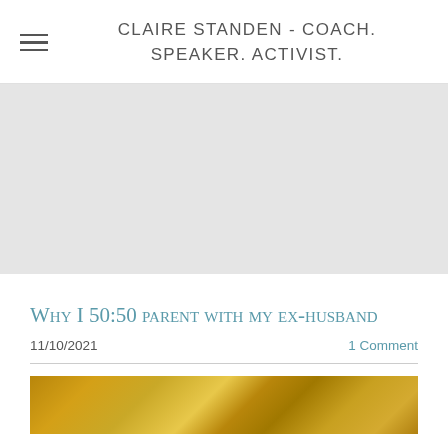CLAIRE STANDEN - COACH. SPEAKER. ACTIVIST.
[Figure (photo): Large grey placeholder hero image area]
Why I 50:50 parent with my ex-husband
11/10/2021    1 Comment
[Figure (photo): Gold/amber colored abstract photo strip at bottom of page]